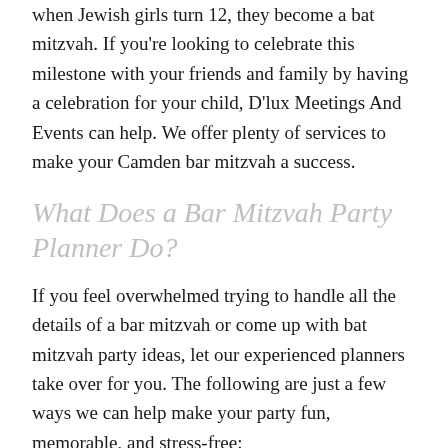when Jewish girls turn 12, they become a bat mitzvah. If you're looking to celebrate this milestone with your friends and family by having a celebration for your child, D'lux Meetings And Events can help. We offer plenty of services to make your Camden bar mitzvah a success.
What Does a Bar Mitzvah Party Planner Do?
If you feel overwhelmed trying to handle all the details of a bar mitzvah or come up with bat mitzvah party ideas, let our experienced planners take over for you. The following are just a few ways we can help make your party fun, memorable, and stress-free:
Go over themes